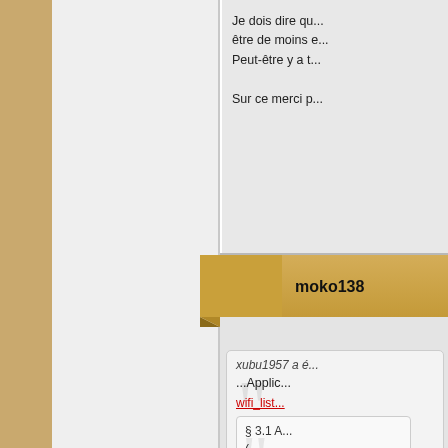Je dois dire qu... être de moins e... Peut-être y a t...
Sur ce merci p...
moko138
xubu1957 a é...
...Applic...
wifi_list...
§ 3.1 A...
Attention xubu1... Il y a dans cett...